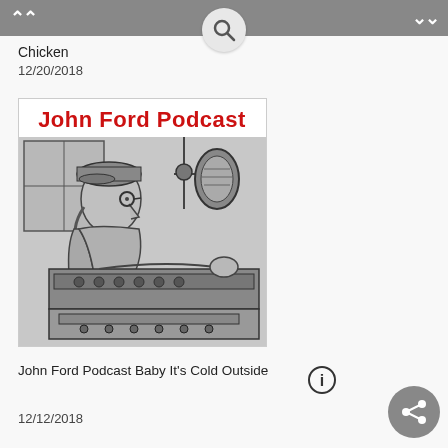Chicken
12/20/2018
[Figure (illustration): John Ford Podcast logo image showing a cartoon man with glasses and a ponytail sitting at a radio broadcast console/mixing board, speaking into a large microphone on a stand. Bold red text at top reads 'John Ford Podcast'. Black and white ink drawing style.]
John Ford Podcast Baby It's Cold Outside
12/12/2018